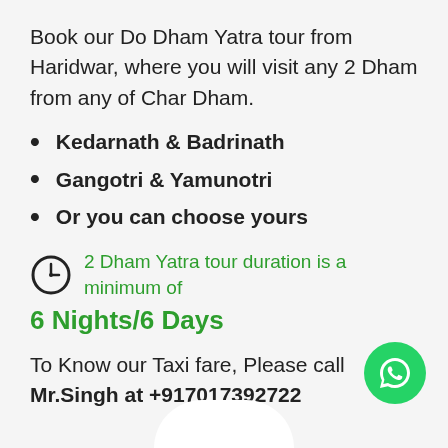Book our Do Dham Yatra tour from Haridwar, where you will visit any 2 Dham from any of Char Dham.
Kedarnath & Badrinath
Gangotri & Yamunotri
Or you can choose yours
2 Dham Yatra tour duration is a minimum of
6 Nights/6 Days
To Know our Taxi fare, Please call Mr.Singh at +917017392722
[Figure (logo): WhatsApp button icon (green circle with white phone handset)]